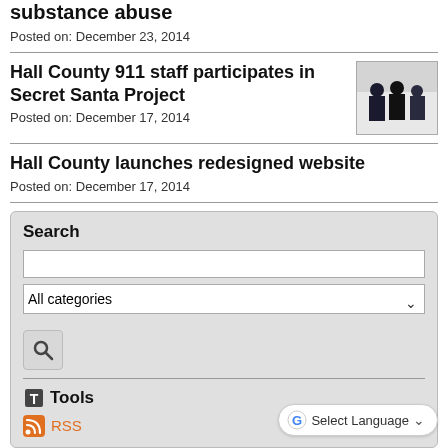substance abuse
Posted on: December 23, 2014
Hall County 911 staff participates in Secret Santa Project
Posted on: December 17, 2014
[Figure (photo): Small photo of people standing together, possibly Hall County 911 staff at event]
Hall County launches redesigned website
Posted on: December 17, 2014
Search
Tools
RSS